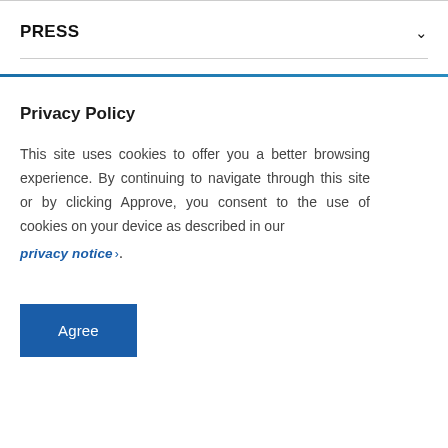PRESS
Privacy Policy
This site uses cookies to offer you a better browsing experience. By continuing to navigate through this site or by clicking Approve, you consent to the use of cookies on your device as described in our privacy notice >.